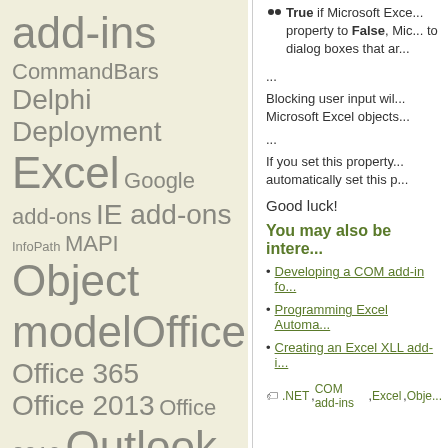add-ins
CommandBars
Delphi
Deployment
Excel Google add-ons IE add-ons
InfoPath MAPI Object model Office
Office 365
Office 2013 Office 2019 Outlook
Outlook regions
Outlook security PIAs
True if Microsoft Excel... property to False, Microsoft... to dialog boxes that ar...
...
Blocking user input wil... Microsoft Excel objects...
...
If you set this property... automatically set this p...
Good luck!
You may also be intere...
Developing a COM add-in fo...
Programming Excel Automa...
Creating an Excel XLL add-i...
.NET , COM add-ins , Excel , Obje...